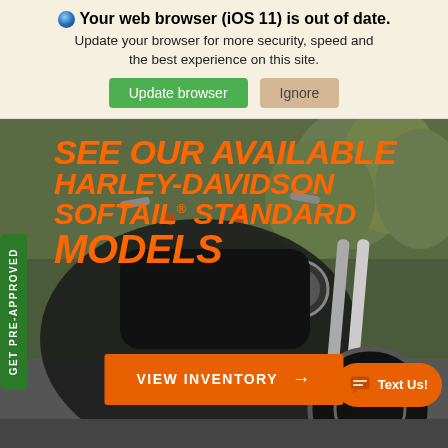🌐 Your web browser (iOS 11) is out of date. Update your browser for more security, speed and the best experience on this site.
Update browser | Ignore
[Figure (photo): Harley-Davidson motorcycle on a road with trees in background, seen from rider perspective showing handlebars and front fork]
SEE OUR AVAILABLE HARLEY-DAVIDSON SOFTAIL® STANDARD MODELS
GET PRE-APPROVED
VIEW INVENTORY →
Text Us!
Search   Saved   Share   Contact